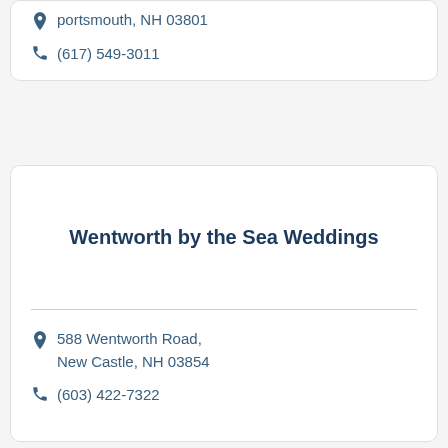portsmouth, NH 03801
(617) 549-3011
Wentworth by the Sea Weddings
588 Wentworth Road, New Castle, NH 03854
(603) 422-7322